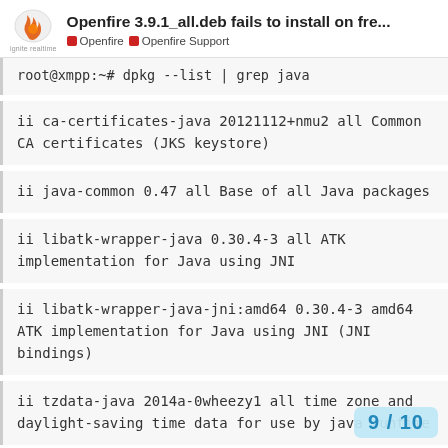Openfire 3.9.1_all.deb fails to install on fre... | Openfire | Openfire Support
root@xmpp:~# dpkg --list | grep java
ii ca-certificates-java 20121112+nmu2 all Common CA certificates (JKS keystore)
ii java-common 0.47 all Base of all Java packages
ii libatk-wrapper-java 0.30.4-3 all ATK implementation for Java using JNI
ii libatk-wrapper-java-jni:amd64 0.30.4-3 amd64 ATK implementation for Java using JNI (JNI bindings)
ii tzdata-java 2014a-0wheezy1 all time zone and daylight-saving time data for use by java runtime
9 / 10